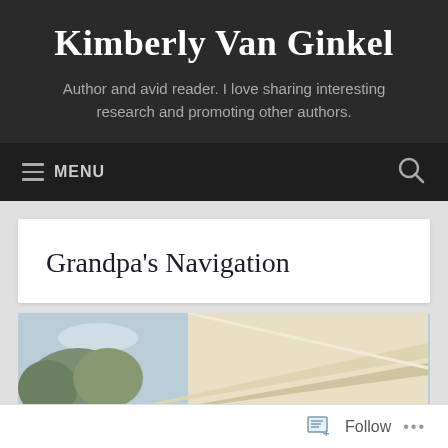Kimberly Van Ginkel
Author and avid reader. I love sharing interesting research and promoting other authors.
≡ MENU
Grandpa's Navigation
[Figure (photo): A partial view of a white house rooftop with trees in the background against a light blue sky.]
Follow ···